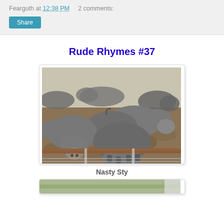Fearguth at 12:38 PM   2 comments:
Share
Rude Rhymes #37
[Figure (photo): Multiple pigs in a muddy sty, viewed from above and the side, with a metal railing/fence bar in the foreground]
Nasty Sty
[Figure (photo): Partial second photo at bottom, cropped]